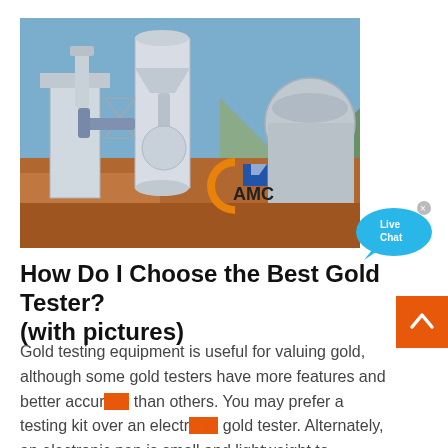[Figure (photo): Industrial milling equipment with large cylindrical silos and conveyor pipes at an outdoor facility, overlaid with an 'AMC' logo in orange and blue.]
How Do I Choose the Best Gold Tester? (with pictures)
Gold testing equipment is useful for valuing gold, although some gold testers have more features and better accuracy than others. You may prefer a testing kit over an electr gold tester. Alternately, an electronic pen is small and lightweight to ...